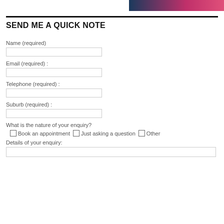[Figure (photo): Partial photo strip showing person in dark and pink clothing, cropped at top right]
SEND ME A QUICK NOTE
Name (required)
Email (required) :
Telephone (required) :
Suburb (required) :
What is the nature of your enquiry?
Book an appointment
Just asking a question
Other
Details of your enquiry: